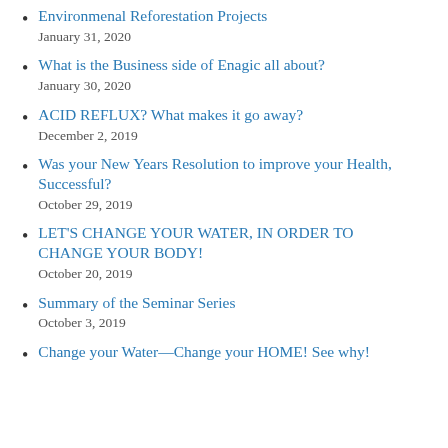Environmenal Reforestation Projects
January 31, 2020
What is the Business side of Enagic all about?
January 30, 2020
ACID REFLUX? What makes it go away?
December 2, 2019
Was your New Years Resolution to improve your Health, Successful?
October 29, 2019
LET'S CHANGE YOUR WATER, IN ORDER TO CHANGE YOUR BODY!
October 20, 2019
Summary of the Seminar Series
October 3, 2019
Change your Water—Change your HOME! See why!